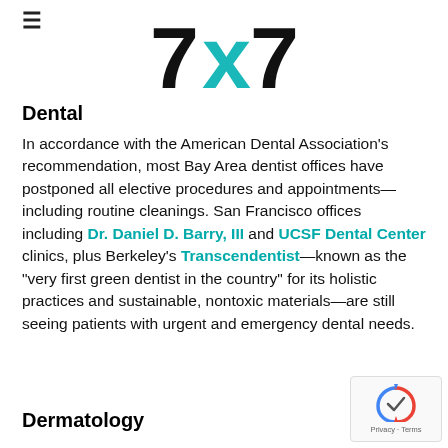[Figure (logo): 7x7 logo with teal X and black 7s]
Dental
In accordance with the American Dental Association's recommendation, most Bay Area dentist offices have postponed all elective procedures and appointments—including routine cleanings. San Francisco offices including Dr. Daniel D. Barry, III and UCSF Dental Center clinics, plus Berkeley's Transcendentist—known as the "very first green dentist in the country" for its holistic practices and sustainable, nontoxic materials—are still seeing patients with urgent and emergency dental needs.
Dermatology